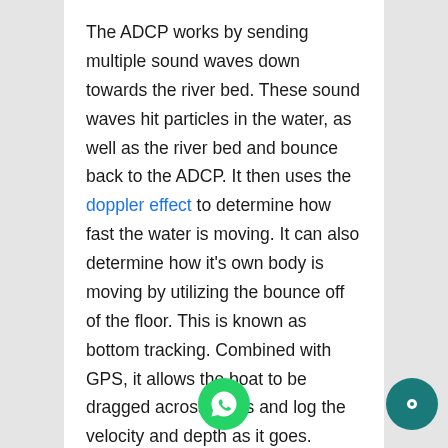The ADCP works by sending multiple sound waves down towards the river bed. These sound waves hit particles in the water, as well as the river bed and bounce back to the ADCP. It then uses the doppler effect to determine how fast the water is moving. It can also determine how it's own body is moving by utilizing the bounce off of the floor. This is known as bottom tracking. Combined with GPS, it allows the boat to be dragged across rivers and log the velocity and depth as it goes.
ADCP systems are very useful for hydro